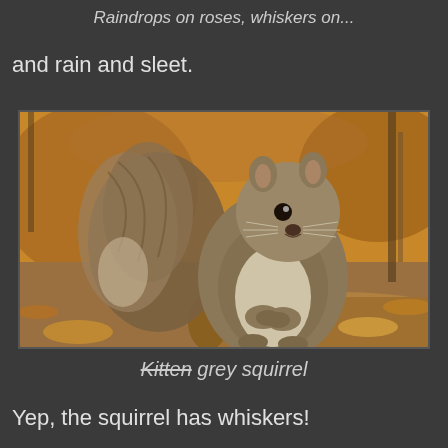Raindrops on roses, whiskers on...
and rain and sleet.
[Figure (photo): A grey squirrel sitting on a log in an autumn woodland setting, facing the camera with its paws clasped together. The background shows orange and brown autumn leaves.]
Kitten grey squirrel (Kitten is struck through)
Yep, the squirrel has whiskers!